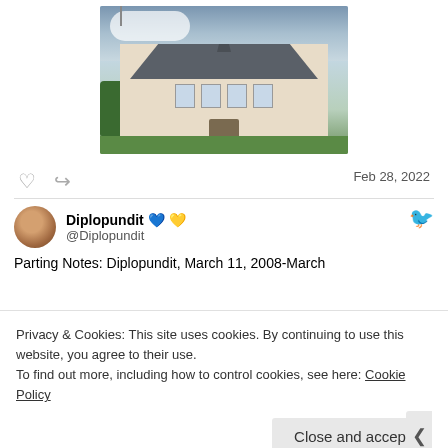[Figure (photo): Photograph of a large cream-colored European-style mansion or embassy building with a dark slate mansard roof, a central tower spire, and American flag on a flagpole to the left. Green lawn and trees in foreground, cloudy sky in background.]
Feb 28, 2022
[Figure (photo): Twitter avatar: circular photo of a person's face]
Diplopundit 💙💛 @Diplopundit
Parting Notes: Diplopundit, March 11, 2008-March
Privacy & Cookies: This site uses cookies. By continuing to use this website, you agree to their use.
To find out more, including how to control cookies, see here: Cookie Policy
Close and accept